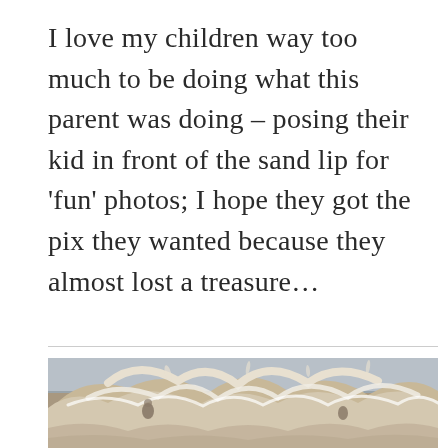I love my children way too much to be doing what this parent was doing – posing their kid in front of the sand lip for 'fun' photos; I hope they got the pix they wanted because they almost lost a treasure…
[Figure (photo): A large crashing ocean wave on a beach with sandy, turbulent water. A small child or person is visible being engulfed by the massive breaking wave.]